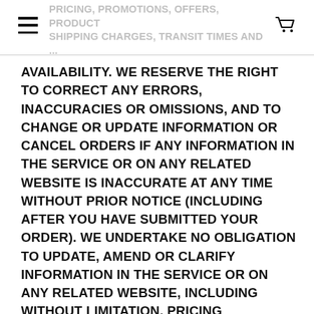PRICING, PROMOTIONS, OFFERS, PRODUCT SHIPPING CHARGES, TRANSIT TIMES AND...
AVAILABILITY. WE RESERVE THE RIGHT TO CORRECT ANY ERRORS, INACCURACIES OR OMISSIONS, AND TO CHANGE OR UPDATE INFORMATION OR CANCEL ORDERS IF ANY INFORMATION IN THE SERVICE OR ON ANY RELATED WEBSITE IS INACCURATE AT ANY TIME WITHOUT PRIOR NOTICE (INCLUDING AFTER YOU HAVE SUBMITTED YOUR ORDER). WE UNDERTAKE NO OBLIGATION TO UPDATE, AMEND OR CLARIFY INFORMATION IN THE SERVICE OR ON ANY RELATED WEBSITE, INCLUDING WITHOUT LIMITATION, PRICING INFORMATION, EXCEPT AS REQUIRED BY LAW. NO SPECIFIED UPDATE OR REFRESH DATE APPLIED IN THE SERVICE OR ON ANY RELATED WEBSITE, SHOULD BE TAKEN TO INDICATE